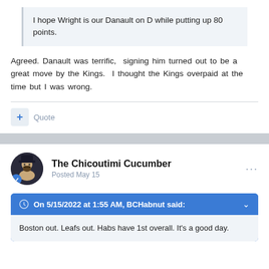I hope Wright is our Danault on D while putting up 80 points.
Agreed. Danault was terrific,  signing him turned out to be a great move by the Kings.  I thought the Kings overpaid at the time but I was wrong.
Quote
The Chicoutimi Cucumber
Posted May 15
On 5/15/2022 at 1:55 AM, BCHabnut said:
Boston out. Leafs out. Habs have 1st overall. It's a good day.